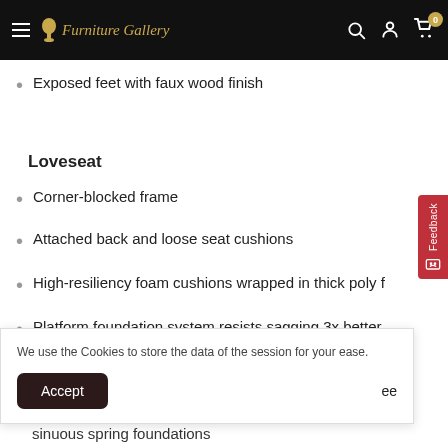Furniture Gallery
Exposed feet with faux wood finish
Loveseat
Corner-blocked frame
Attached back and loose seat cushions
High-resiliency foam cushions wrapped in thick poly f
Platform foundation system resists sagging 3x better than spring system after 20,000 testing cycles by providing more
We use the Cookies to store the data of the session for your ease.
Accept
sinuous spring foundations